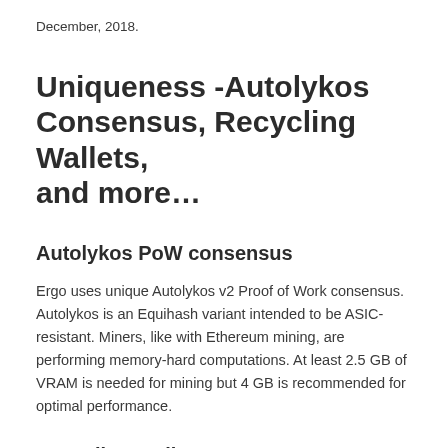December, 2018.
Uniqueness -Autolykos Consensus, Recycling Wallets, and more…
Autolykos PoW consensus
Ergo uses unique Autolykos v2 Proof of Work consensus. Autolykos is an Equihash variant intended to be ASIC-resistant. Miners, like with Ethereum mining, are performing memory-hard computations. At least 2.5 GB of VRAM is needed for mining but 4 GB is recommended for optimal performance.
Recycling Wallets